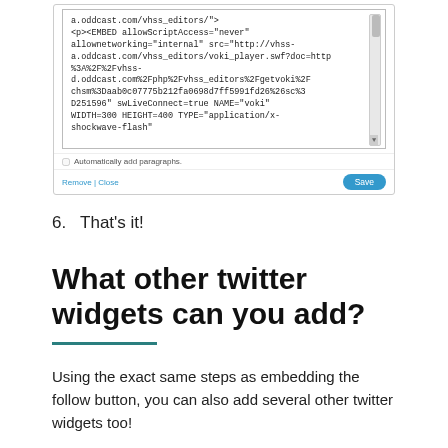[Figure (screenshot): Screenshot of a WordPress embed editor showing HTML code for a Voki player embed, with a checkbox for 'Automatically add paragraphs', and Remove | Close link and Save button at the bottom.]
6.  That’s it!
What other twitter widgets can you add?
Using the exact same steps as embedding the follow button, you can also add several other twitter widgets too!